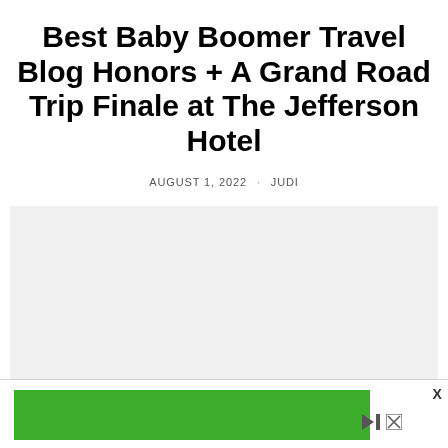Best Baby Boomer Travel Blog Honors + A Grand Road Trip Finale at The Jefferson Hotel
AUGUST 1, 2022 · JUDI
[Figure (other): Large light gray image placeholder rectangle below byline]
[Figure (other): Green advertisement banner at bottom with play/skip controls and close X button]